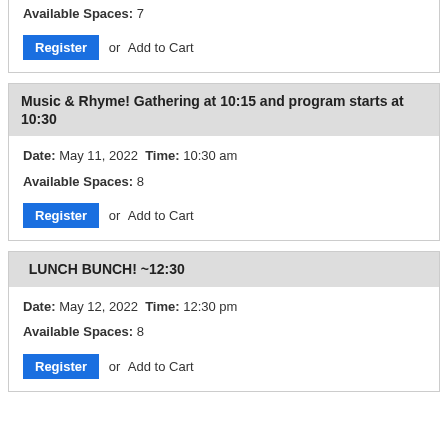Available Spaces: 7
Register or Add to Cart
Music & Rhyme! Gathering at 10:15 and program starts at 10:30
Date: May 11, 2022 Time: 10:30 am
Available Spaces: 8
Register or Add to Cart
LUNCH BUNCH! ~12:30
Date: May 12, 2022 Time: 12:30 pm
Available Spaces: 8
Register or Add to Cart